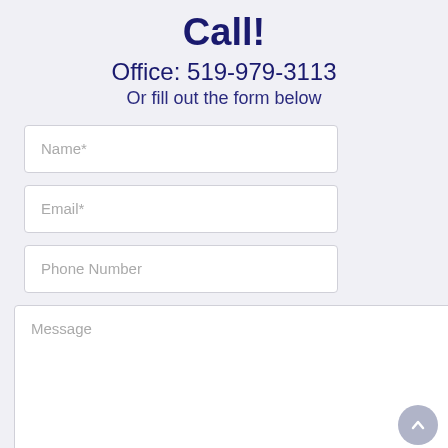Call!
Office: 519-979-3113
Or fill out the form below
Name*
Email*
Phone Number
Message